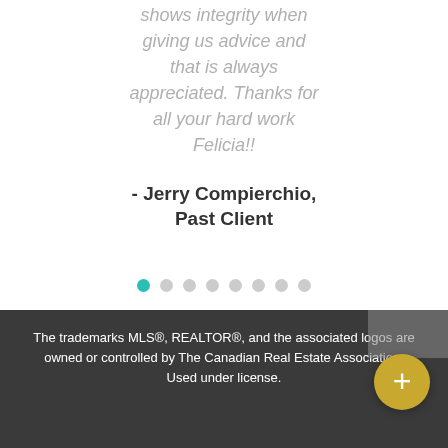shows integrity when giving us advice and that is always appreciated. Thanks for all your hard work Felicia!!
- Jerry Compierchio, Past Client
[Figure (other): Pagination dots: 8 dots in a row, first dot teal/active, remaining dots grey]
The trademarks MLS®, REALTOR®, and the associated logos are owned or controlled by The Canadian Real Estate Association. Used under license.